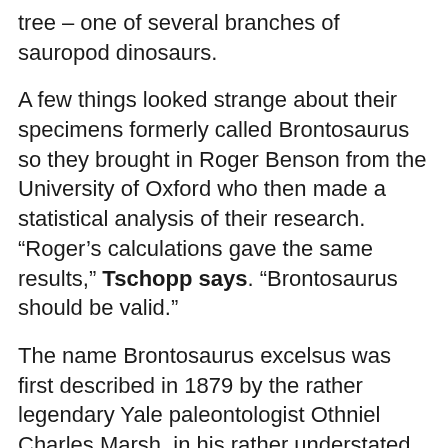tree – one of several branches of sauropod dinosaurs.
A few things looked strange about their specimens formerly called Brontosaurus so they brought in Roger Benson from the University of Oxford who then made a statistical analysis of their research. “Roger’s calculations gave the same results,” Tschopp says. “Brontosaurus should be valid.”
The name Brontosaurus excelsus was first described in 1879 by the rather legendary Yale paleontologist Othniel Charles Marsh, in his rather understated paper: “Notice of New Jurassic Reptiles.” Marsh would later go on to name 80 new species of prehistoric creatures, much to the chagrin of his rival, Edward Cope, who often refuted the nature of his findings in a 20-year feud that would later be known as the Bone Wars. One identified 50 new species, his rival...